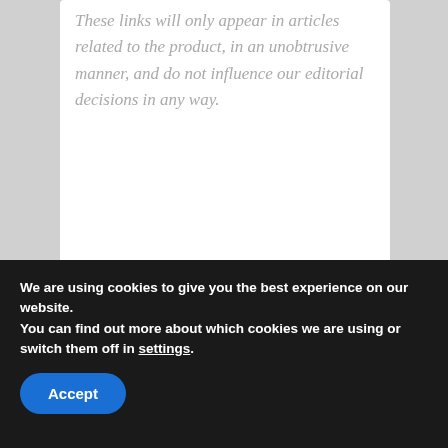These links will only appear in articles related to the product, in an unobtrusive manner, and do not influence our editorial decisions in any way.
[Figure (screenshot): Navigation card for previous post: 'Nintendo Releasing Series of live-action videos for M&S Rio 2016' with Nintendo character imagery (Sonic and Mario figures) in the background, dark blue overlay on left, label '< PREVIOUS POST' above title]
We are using cookies to give you the best experience on our website.
You can find out more about which cookies we are using or switch them off in settings.